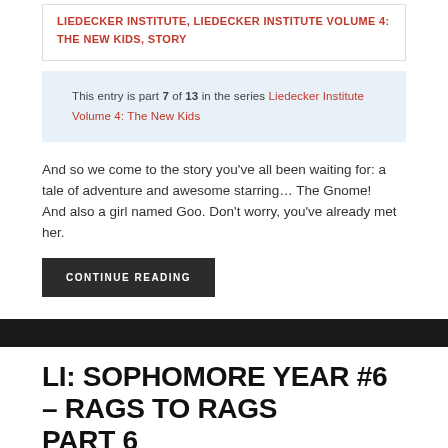LIEDECKER INSTITUTE, LIEDECKER INSTITUTE VOLUME 4: THE NEW KIDS, STORY
This entry is part 7 of 13 in the series Liedecker Institute Volume 4: The New Kids
And so we come to the story you’ve all been waiting for: a tale of adventure and awesome starring… The Gnome!
And also a girl named Goo. Don’t worry, you’ve already met her.
CONTINUE READING
LI: SOPHOMORE YEAR #6 – RAGS TO RAGS PART 6